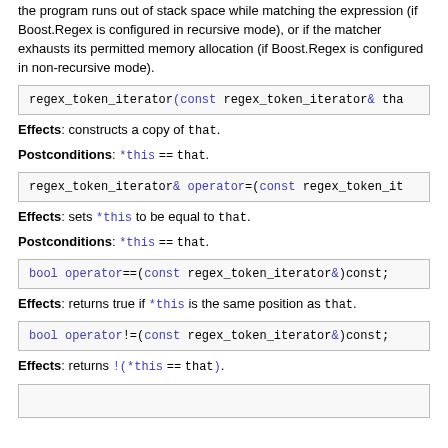the program runs out of stack space while matching the expression (if Boost.Regex is configured in recursive mode), or if the matcher exhausts its permitted memory allocation (if Boost.Regex is configured in non-recursive mode).
Effects: constructs a copy of that.
Postconditions: *this == that.
Effects: sets *this to be equal to that.
Postconditions: *this == that.
Effects: returns true if *this is the same position as that.
Effects: returns !(*this == that).